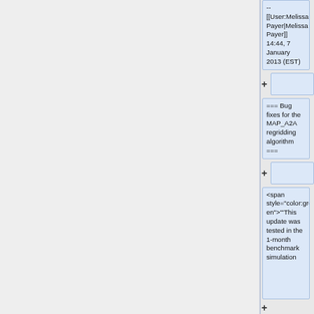--[[User:Melissa Payer|Melissa Payer]] 14:44, 7 January 2013 (EST)
=== Bug fixes for the MAP_A2A regridding algorithm ===
<span style="color:green">'''This update was tested in the 1-month benchmark simulation